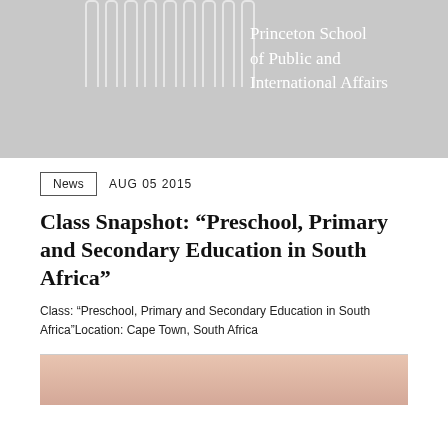[Figure (photo): Princeton School of Public and International Affairs header banner with architectural column motif in gray and white text]
News   AUG 05 2015
Class Snapshot: “Preschool, Primary and Secondary Education in South Africa”
Class: “Preschool, Primary and Secondary Education in South Africa”Location: Cape Town, South Africa
[Figure (photo): Partial photo of hands, bottom of page]